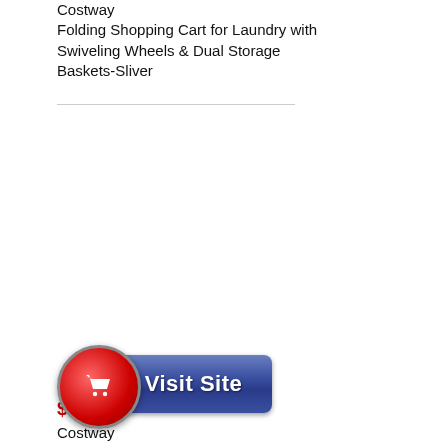Costway
Folding Shopping Cart for Laundry with Swiveling Wheels & Dual Storage Baskets-Sliver
[Figure (illustration): Visit Site button with red circular shopping cart icon on left and blue rectangular button on right with 'Visit Site' text in white]
$74.00
Costway
Folding Shopping Cart with 38 L Removable Waterproof Bag-Black